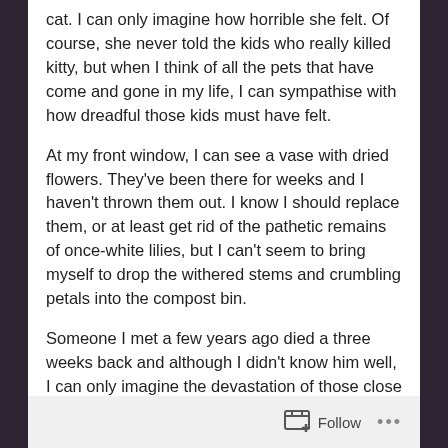cat. I can only imagine how horrible she felt. Of course, she never told the kids who really killed kitty, but when I think of all the pets that have come and gone in my life, I can sympathise with how dreadful those kids must have felt.
At my front window, I can see a vase with dried flowers. They've been there for weeks and I haven't thrown them out. I know I should replace them, or at least get rid of the pathetic remains of once-white lilies, but I can't seem to bring myself to drop the withered stems and crumbling petals into the compost bin.
Someone I met a few years ago died a three weeks back and although I didn't know him well, I can only imagine the devastation of those close
Follow ...